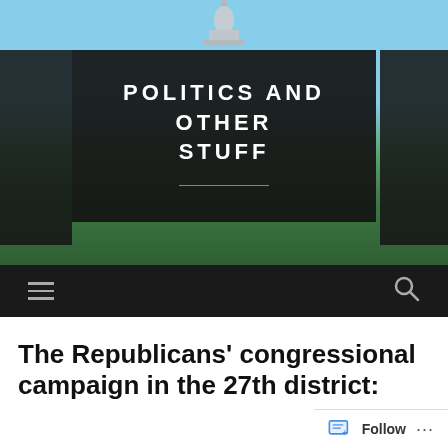[Figure (photo): Aerial photo of the US Capitol building with bright blue sky, green lawn in the foreground]
POLITICS AND OTHER STUFF
navigation bar with hamburger menu and search icon
The Republicans' congressional campaign in the 27th district: